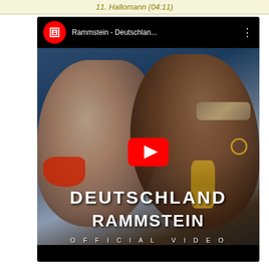11. Hallomann (04:11)
[Figure (screenshot): YouTube video thumbnail for Rammstein - Deutschlan... showing two people about to kiss, with DEUTSCHLAND and RAMMSTEIN OFFICIAL VIDEO text overlaid, and a YouTube play button in the center.]